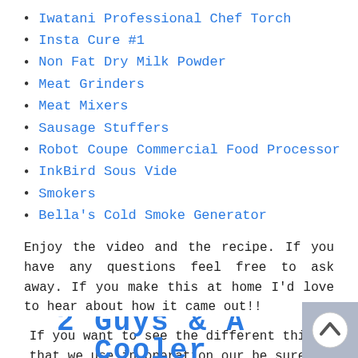Iwatani Professional Chef Torch
Insta Cure #1
Non Fat Dry Milk Powder
Meat Grinders
Meat Mixers
Sausage Stuffers
Robot Coupe Commercial Food Processor
InkBird Sous Vide
Smokers
Bella's Cold Smoke Generator
Enjoy the video and the recipe. If you have any questions feel free to ask away. If you make this at home I'd love to hear about how it came out!!
If you want to see the different things that we use in operation our be sure to check out our new Amazon Store.
2 Guys & A Cooler